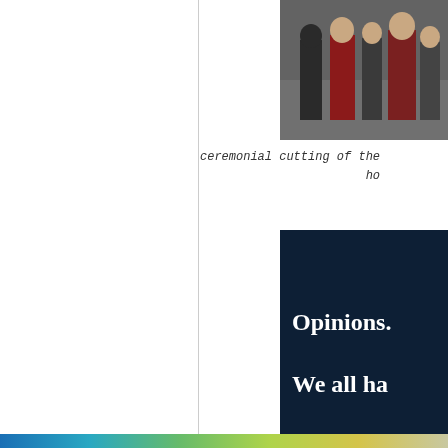[Figure (photo): Photo of people standing, partially cropped, appearing to be in a ceremony or event setting]
ceremonial cutting of the ho
[Figure (infographic): Dark navy promotional box with white bold serif text reading 'Opinions... We all ha' and a pink button at the bottom]
Privacy & Cookies: This site uses cookies. By continuing to use this website, you agree to their use. To find out more, including how to control cookies, see here: Cookie Policy
Close and accept